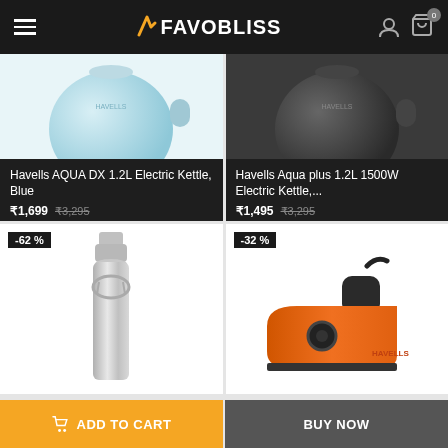FAVOBLISS
[Figure (photo): Havells AQUA DX 1.2L Electric Kettle in blue color]
Havells AQUA DX 1.2L Electric Kettle, Blue ₹1,699 ₹3,295 ★★★★★
[Figure (photo): Havells Aqua plus 1.2L 1500W Electric Kettle in dark/black color]
Havells Aqua plus 1.2L 1500W Electric Kettle,... ₹1,495 ₹3,295 ★★★★★
[Figure (photo): Stainless steel water bottle with -62% discount badge]
[Figure (photo): Orange and black electric iron with -32% discount badge]